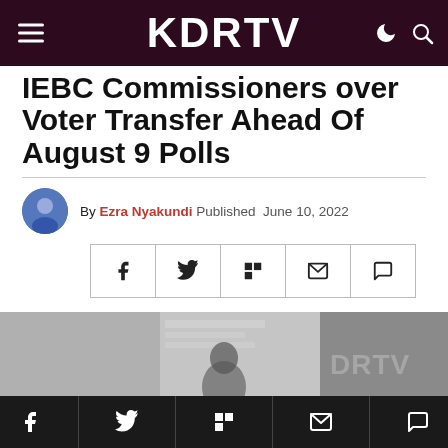KDRTV
IEBC Commissioners over Voter Transfer Ahead Of August 9 Polls
By Ezra Nyakundi  Published  June 10, 2022
[Figure (photo): Photo with KDRTV watermark showing a person at what appears to be an official setting]
Social share bar with Facebook, Twitter, Flipboard, Email, Comment icons